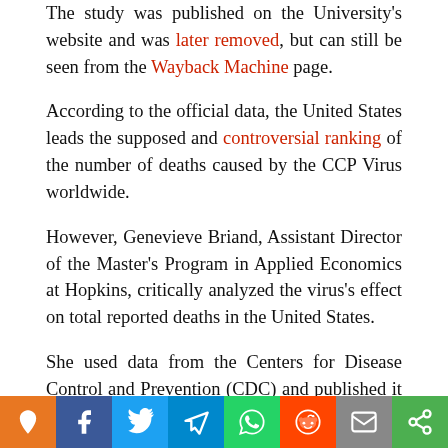The study was published on the University's website and was later removed, but can still be seen from the Wayback Machine page.
According to the official data, the United States leads the supposed and controversial ranking of the number of deaths caused by the CCP Virus worldwide.
However, Genevieve Briand, Assistant Director of the Master's Program in Applied Economics at Hopkins, critically analyzed the virus's effect on total reported deaths in the United States.
She used data from the Centers for Disease Control and Prevention (CDC) and published it in her webinar entitled “Deaths from COVID-19: A Look at U.S. Data. According to CDC records from mid-March to mid-September, total ann...tes